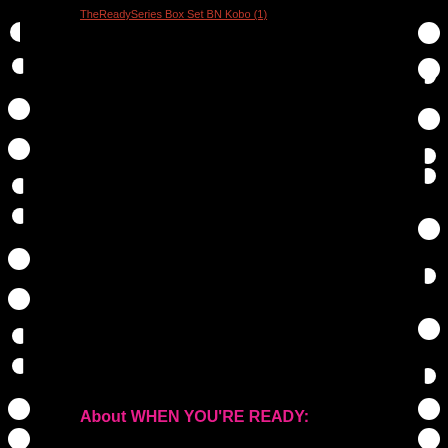TheReadySeries Box Set BN Kobo (1)
About WHEN YOU'RE READY: